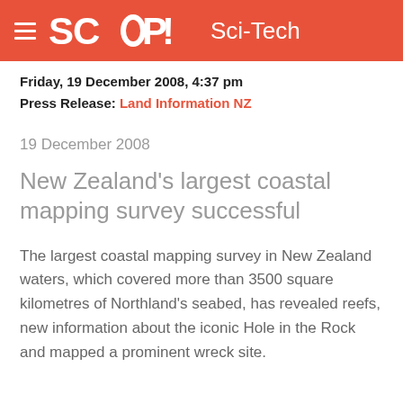SCOOP Sci-Tech
Friday, 19 December 2008, 4:37 pm
Press Release: Land Information NZ
19 December 2008
New Zealand's largest coastal mapping survey successful
The largest coastal mapping survey in New Zealand waters, which covered more than 3500 square kilometres of Northland's seabed, has revealed reefs, new information about the iconic Hole in the Rock and mapped a prominent wreck site.